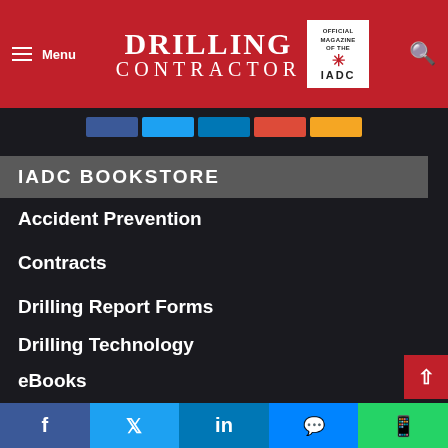Menu | DRILLING CONTRACTOR | OFFICIAL MAGAZINE OF THE IADC
[Figure (screenshot): Social share buttons row: Facebook (blue), Twitter (light blue), LinkedIn (blue), Google+ (red), YouTube/gold colored button]
IADC BOOKSTORE
Accident Prevention
Contracts
Drilling Report Forms
Drilling Technology
eBooks
Education & Training
Member Materials
Facebook | Twitter | LinkedIn | Messenger | WhatsApp